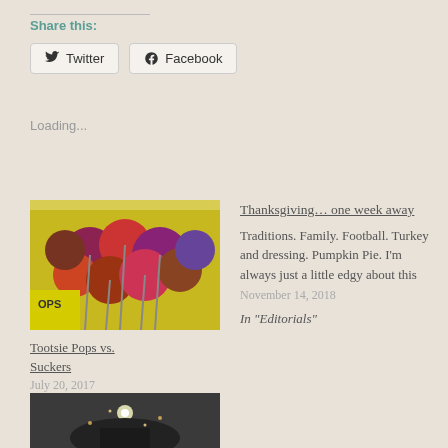Share this:
Twitter   Facebook
Loading...
[Figure (photo): Box of colorful Tootsie Pops lollipops in red, purple, and orange on yellow background]
Tootsie Pops vs. Suckers
July 20, 2017
In "Editorials"
Thanksgiving… one week away
Traditions.  Family.  Football.  Turkey and dressing. Pumpkin Pie. I'm always just a little edgy about this
November 14, 2018
In "Editorials"
[Figure (photo): Dark indoor photo of a lit Christmas tree or decorative light display]